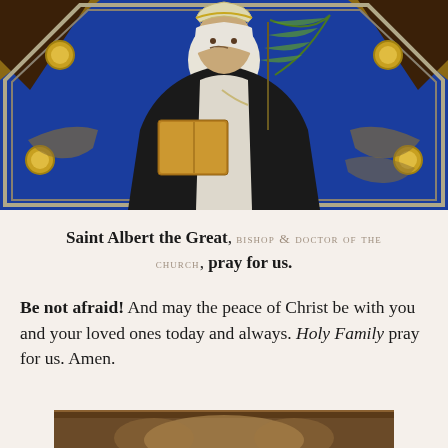[Figure (illustration): Painting of Saint Albert the Great depicted as a Dominican bishop holding a palm frond and a quill pen over a book, wearing black and white habit with episcopal mitre, set within an octagonal ornate gold frame against a blue background with decorative golden elements]
Saint Albert the Great, BISHOP & DOCTOR OF THE CHURCH, pray for us.
Be not afraid!  And may the peace of Christ be with you and your loved ones today and always.  Holy Family pray for us.  Amen.
[Figure (illustration): Partial view of a second painting at the bottom of the page]